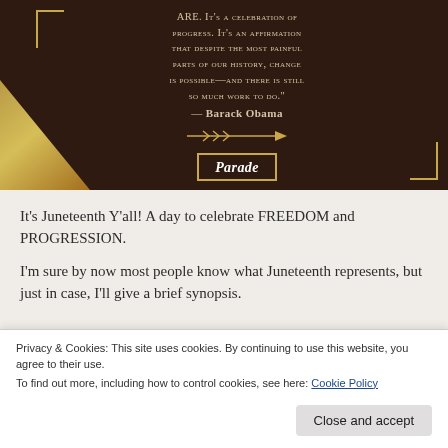[Figure (illustration): Dark brown decorative image with gold corner brackets showing a Barack Obama quote about Juneteenth: 'ARE. IT'S A CELEBRATION OF PROGRESS. IT'S AN AFFIRMATION THAT DESPITE THE MOST PAINFUL PARTS OF OUR HISTORY, CHANGE IS POSSIBLE—AND THERE IS STILL SO MUCH WORK TO DO.' — Barack Obama, with decorative arrow pointing right and Parade magazine logo at bottom. A gold/yellow foliage element is visible at lower left.]
It's Juneteenth Y'all! A day to celebrate FREEDOM and PROGRESSION.
I'm sure by now most people know what Juneteenth represents, but just in case, I'll give a brief synopsis.
Privacy & Cookies: This site uses cookies. By continuing to use this website, you agree to their use.
To find out more, including how to control cookies, see here: Cookie Policy
States, celebrated on June 19th each year. On tomorrow, June